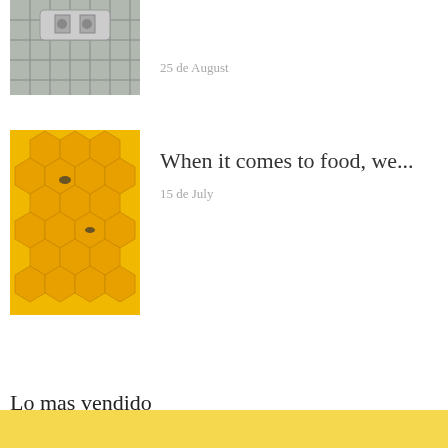[Figure (photo): Partially visible thumbnail image at top, appears to show mechanical/agricultural equipment on a grid]
25 de August
[Figure (photo): Honeycomb with bees, golden yellow tones]
When it comes to food, we...
15 de July
Lo mas vendido
We use our own and third party cookies to improve our services and show you advertising related to your preferences by analyzing your browsing habits. If you continue browsing, we consider that you accept its use. You can get more information here.
Accept